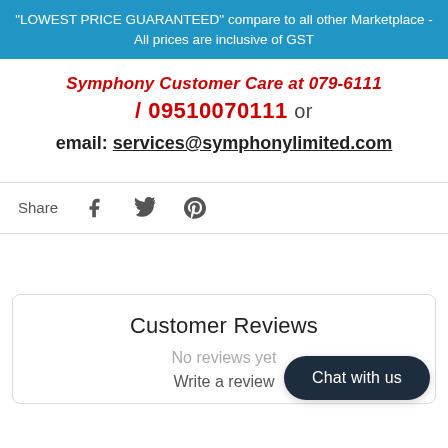"LOWEST PRICE GUARANTEED" compare to all other Marketplace - All prices are inclusive of GST
Symphony Customer Care at 079-6111 / 09510070111 or email: services@symphonylimited.com
Share
Customer Reviews
No reviews yet
Write a review
Chat with us